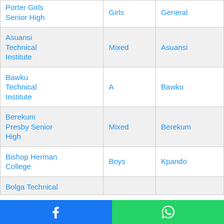| School Name | Type | Location |
| --- | --- | --- |
| Porter Girls Senior High | Girls | General |
| Asuansi Technical Institute | Mixed | Asuansi |
| Bawku Technical Institute | A | Bawku |
| Berekum Presby Senior High | Mixed | Berekum |
| Bishop Herman College | Boys | Kpando |
| Bolga Technical ... |  |  |
Facebook share | WhatsApp share